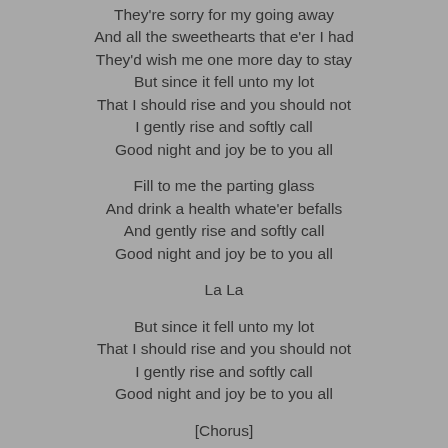They're sorry for my going away
And all the sweethearts that e'er I had
They'd wish me one more day to stay
But since it fell unto my lot
That I should rise and you should not
I gently rise and softly call
Good night and joy be to you all
Fill to me the parting glass
And drink a health whate'er befalls
And gently rise and softly call
Good night and joy be to you all
La La
But since it fell unto my lot
That I should rise and you should not
I gently rise and softly call
Good night and joy be to you all
[Chorus]